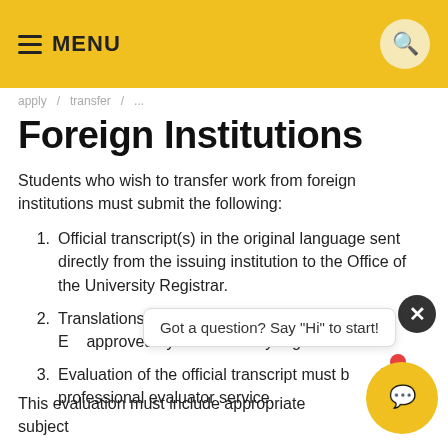MENU
Foreign Institutions
Students who wish to transfer work from foreign institutions must submit the following:
Official transcript(s) in the original language sent directly from the issuing institution to the Office of the University Registrar.
Translations of the official transcript(s) into standard English by an agency approved by the university registrar.
Evaluation of the official transcript must be done by a professional evaluator service.
This evaluation must include appropriate subject